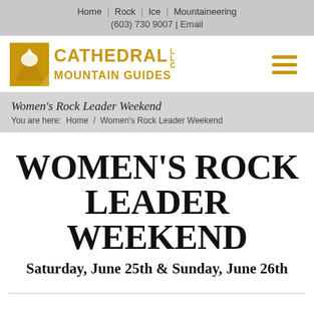Home | Rock | Ice | Mountaineering
(603) 730 9007 | Email
[Figure (logo): Cathedral Mountain Guides LLC logo: gold mountain/bird icon with gold text reading CATHEDRAL MOUNTAIN GUIDES LLC]
Women's Rock Leader Weekend
You are here:  Home  /  Women's Rock Leader Weekend
WOMEN'S ROCK LEADER WEEKEND
Saturday, June 25th & Sunday, June 26th